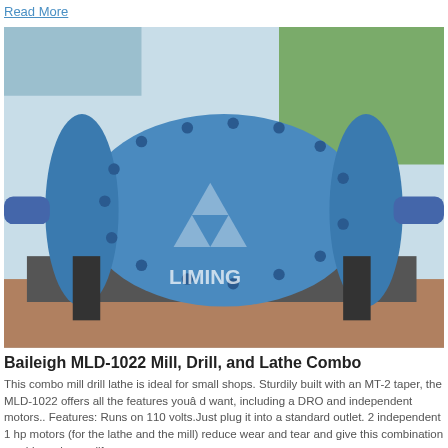Read More
[Figure (photo): Blue cylindrical ball mill machine (LIMING brand) on a concrete base, outdoors with trees in background]
Baileigh MLD-1022 Mill, Drill, and Lathe Combo
This combo mill drill lathe is ideal for small shops. Sturdily built with an MT-2 taper, the MLD-1022 offers all the features youâ d want, including a DRO and independent motors.. Features: Runs on 110 volts.Just plug it into a standard outlet. 2 independent 1 hp motors (for the lathe and the mill) reduce wear and tear and give this combination machine a longer life.
Read More
[Figure (photo): Industrial quarry or mining facility with green hills in background, conveyor belts and industrial buildings visible]